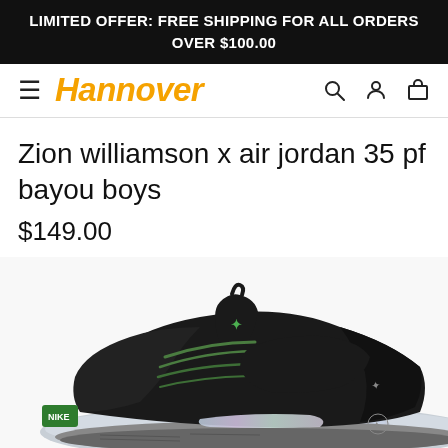LIMITED OFFER: FREE SHIPPING FOR ALL ORDERS OVER $100.00
[Figure (screenshot): Hannover store navigation bar with hamburger menu, orange italic Hannover logo, search icon, account icon, and cart icon]
Zion williamson x air jordan 35 pf bayou boys
$149.00
[Figure (photo): Close-up photo of a black and silver Air Jordan 35 sneaker with green Jumpman logo, iridescent sole, and green laces on a white background]